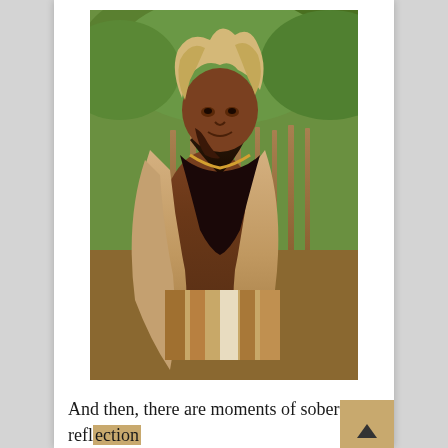[Figure (photo): A man wearing traditional African attire including animal fur garments and a headdress with light-colored hair, standing outdoors with wooden fence and green trees in the background.]
And then, there are moments of sober reflection as we explore the now extant Kimberley's DeBeer diamond mine, a place of sudden death and tragedy in 1914 after which the mine closed